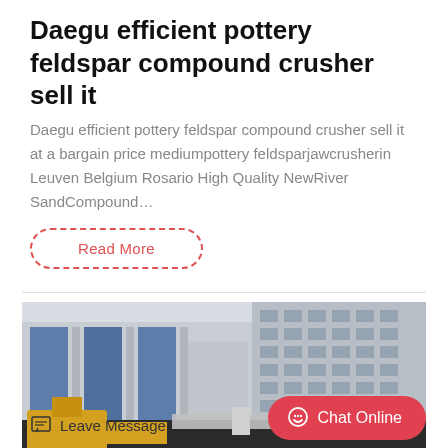Daegu efficient pottery feldspar compound crusher sell it
Daegu efficient pottery feldspar compound crusher sell it at a bargain price mediumpottery feldsparjawcrusherin Leuven Belgium Rosario High Quality NewRiver SandCompound…
Read More
[Figure (photo): Urban construction site with modern multi-story buildings featuring blue glass facades and concrete, with yellow construction equipment in the foreground]
Leave Message
Chat Online